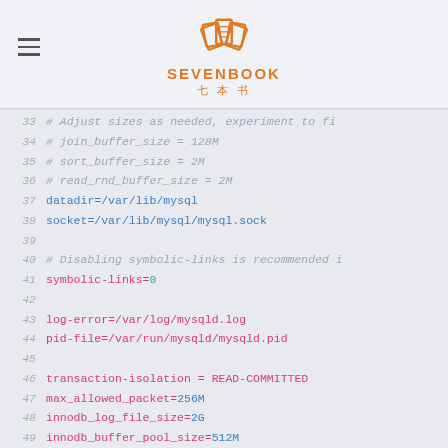SEVENBOOK 七本书
[Figure (screenshot): Code editor screenshot showing MySQL configuration file lines 33-56 with line numbers, comments in gray italic, path values in blue, keys in red/pink, and numeric values in green.]